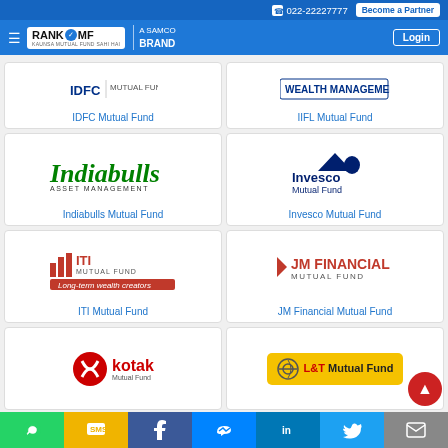022-22227777 | Become a Partner | RANK MF - A SAMCO BRAND | Login
[Figure (logo): IDFC Mutual Fund logo (partial, top cropped)]
IDFC Mutual Fund
[Figure (logo): IIFL Wealth Management / IIFL Mutual Fund logo]
IIFL Mutual Fund
[Figure (logo): Indiabulls Asset Management green italic logo]
Indiabulls Mutual Fund
[Figure (logo): Invesco Mutual Fund logo with mountain/bear icon]
Invesco Mutual Fund
[Figure (logo): ITI Mutual Fund logo with Long-term wealth creators tagline]
ITI Mutual Fund
[Figure (logo): JM Financial Mutual Fund logo]
JM Financial Mutual Fund
[Figure (logo): Kotak Mutual Fund logo]
[Figure (logo): L&T Mutual Fund yellow logo]